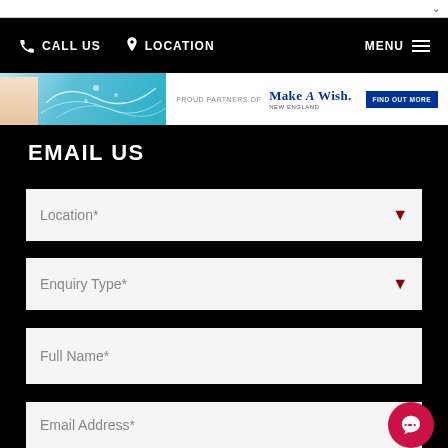CALL US  LOCATION  MENU
[Figure (screenshot): Make-A-Wish New England banner with proud partners text and Find Out More button]
EMAIL US
Location* (dropdown)
Enquiry Type* (dropdown)
Full Name* (text input)
Email Address* (text input)